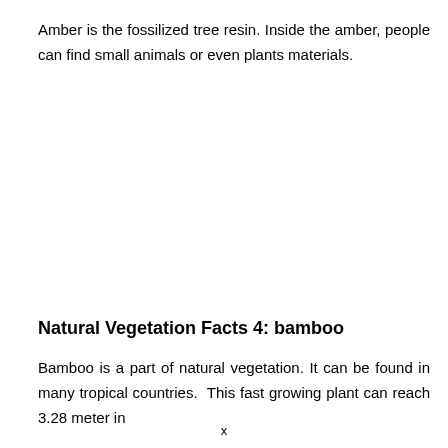Amber is the fossilized tree resin. Inside the amber, people can find small animals or even plants materials.
Natural Vegetation Facts 4: bamboo
Bamboo is a part of natural vegetation. It can be found in many tropical countries. This fast growing plant can reach 3.28 meter in
x